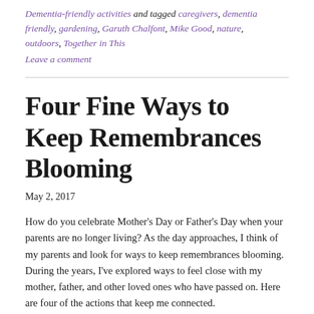Dementia-friendly activities and tagged caregivers, dementia friendly, gardening, Garuth Chalfont, Mike Good, nature, outdoors, Together in This
Leave a comment
Four Fine Ways to Keep Remembrances Blooming
May 2, 2017
How do you celebrate Mother's Day or Father's Day when your parents are no longer living? As the day approaches, I think of my parents and look for ways to keep remembrances blooming. During the years, I've explored ways to feel close with my mother, father, and other loved ones who have passed on. Here are four of the actions that keep me connected.